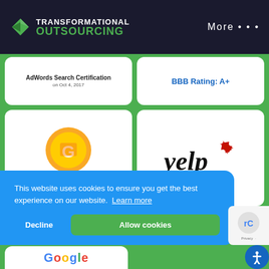TRANSFORMATIONAL OUTSOURCING — More ...
AdWords Search Certification on Oct 4, 2017
BBB Rating: A+
[Figure (logo): Google My Business badge icon — gold circular badge with G logo. Completed. Google My Business Basics]
[Figure (logo): Yelp logo — black italic text 'yelp' with red burst logo mark]
This website uses cookies to ensure you get the best experience on our website. Learn more
Decline
Allow cookies